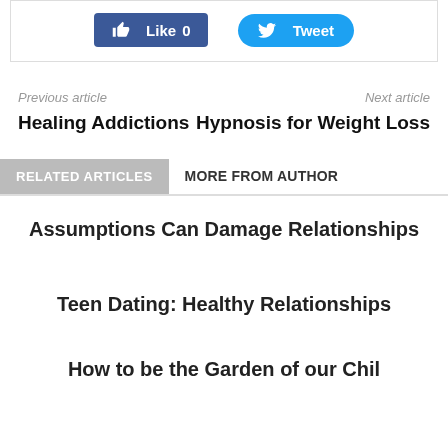[Figure (screenshot): Social share buttons: blue Facebook Like button showing 0 likes, and blue Twitter Tweet button]
Previous article
Healing Addictions
Next article
Hypnosis for Weight Loss
RELATED ARTICLES
MORE FROM AUTHOR
Assumptions Can Damage Relationships
Teen Dating: Healthy Relationships
How to be the Garden of our Children